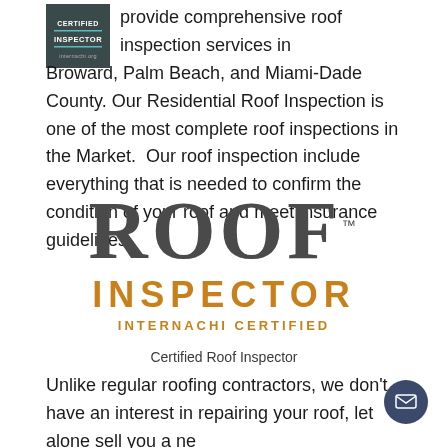[Figure (logo): Certified Inspector small badge logo in top left corner, dark background with white text]
provide comprehensive roof inspection services in Broward, Palm Beach, and Miami-Dade County. Our Residential Roof Inspection is one of the most complete roof inspections in the Market. Our roof inspection include everything that is needed to confirm the condition of your roof and meet insurance guidelines.
[Figure (logo): Roof Inspector InterNACHI Certified logo. Large bold dark gray 'ROOF' text on top, orange 'INSPECTOR' below, orange 'INTERNACHI CERTIFIED' smaller below that, with a TM mark after ROOF.]
Certified Roof Inspector
Unlike regular roofing contractors, we don't have an interest in repairing your roof, let alone sell you a new roof. Unlike other home inspectors that won't walk a